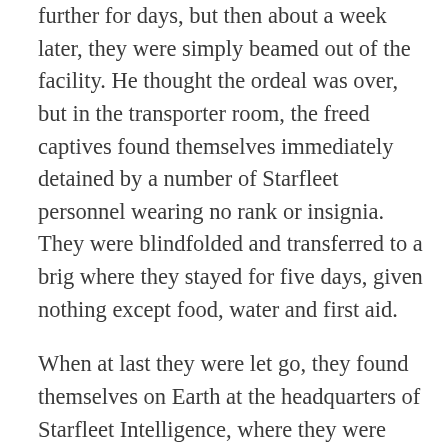further for days, but then about a week later, they were simply beamed out of the facility. He thought the ordeal was over, but in the transporter room, the freed captives found themselves immediately detained by a number of Starfleet personnel wearing no rank or insignia. They were blindfolded and transferred to a brig where they stayed for five days, given nothing except food, water and first aid.
When at last they were let go, they found themselves on Earth at the headquarters of Starfleet Intelligence, where they were ordered to sign confidentiality documents about what they had or hadn't seen. After that, Jake was awarded a Distinguished Service Cross, although the description of what exactly he had been a part of was kept from him. A small consolation for the trials he had endured and the risks he had taken, he would much rather have had some answers. It was